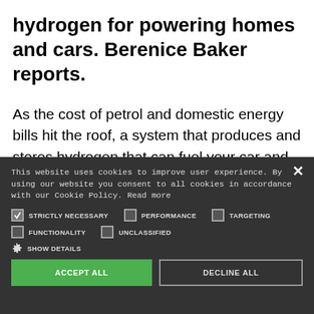hydrogen for powering homes and cars. Berenice Baker reports.
As the cost of petrol and domestic energy bills hit the roof, a system that produces and stores hydrogen that can fuel your car and heat your home — and remains affordable and green —
This website uses cookies to improve user experience. By using our website you consent to all cookies in accordance with our Cookie Policy. Read more
STRICTLY NECESSARY (checked), PERFORMANCE (unchecked), TARGETING (unchecked)
FUNCTIONALITY (unchecked), UNCLASSIFIED (unchecked)
SHOW DETAILS
ACCEPT ALL | DECLINE ALL